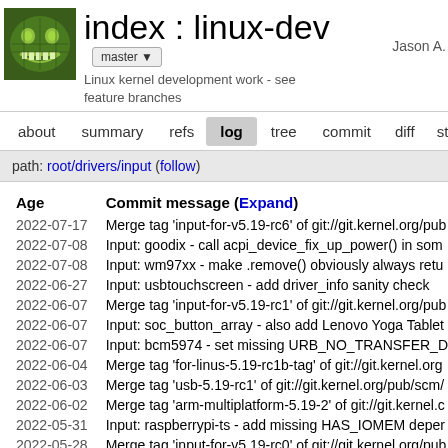index : linux-dev
Linux kernel development work - see feature branches
Jason A.
path: root/drivers/input (follow)
| Age | Commit message (Expand) |
| --- | --- |
| 2022-07-17 | Merge tag 'input-for-v5.19-rc6' of git://git.kernel.org/pub... |
| 2022-07-08 | Input: goodix - call acpi_device_fix_up_power() in som... |
| 2022-07-08 | Input: wm97xx - make .remove() obviously always retu... |
| 2022-06-27 | Input: usbtouchscreen - add driver_info sanity check |
| 2022-06-07 | Merge tag 'input-for-v5.19-rc1' of git://git.kernel.org/pub... |
| 2022-06-07 | Input: soc_button_array - also add Lenovo Yoga Tablet... |
| 2022-06-07 | Input: bcm5974 - set missing URB_NO_TRANSFER_D... |
| 2022-06-04 | Merge tag 'for-linus-5.19-rc1b-tag' of git://git.kernel.org... |
| 2022-06-03 | Merge tag 'usb-5.19-rc1' of git://git.kernel.org/pub/scm/... |
| 2022-06-02 | Merge tag 'arm-multiplatform-5.19-2' of git://git.kernel.c... |
| 2022-05-31 | Input: raspberrypi-ts - add missing HAS_IOMEM deper... |
| 2022-05-28 | Merge tag 'input-for-v5.19-rc0' of git://git.kernel.org/pub... |
| 2022-05-27 | Merge branch 'next' into for-linus |